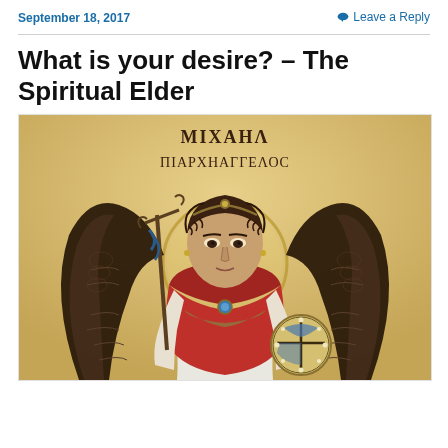September 18, 2017
Leave a Reply
What is your desire? – The Spiritual Elder
[Figure (illustration): Coptic icon of the Archangel Michael (MIXAHA ΠΙΑΡΧΗΑΓΓΕΛΟС) holding a cross-staff and an orb, wearing a red cloak, with large dark wings and a golden halo.]